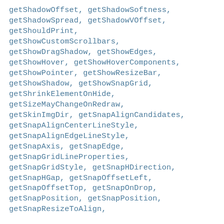getShadowOffset, getShadowSoftness, getShadowSpread, getShadowVOffset, getShouldPrint, getShowCustomScrollbars, getShowDragShadow, getShowEdges, getShowHover, getShowHoverComponents, getShowPointer, getShowResizeBar, getShowShadow, getShowSnapGrid, getShrinkElementOnHide, getSizeMayChangeOnRedraw, getSkinImgDir, getSnapAlignCandidates, getSnapAlignCenterLineStyle, getSnapAlignEdgeLineStyle, getSnapAxis, getSnapEdge, getSnapGridLineProperties, getSnapGridStyle, getSnapHDirection, getSnapHGap, getSnapOffsetLeft, getSnapOffsetTop, getSnapOnDrop, getSnapPosition, getSnapPosition, getSnapResizeToAlign,